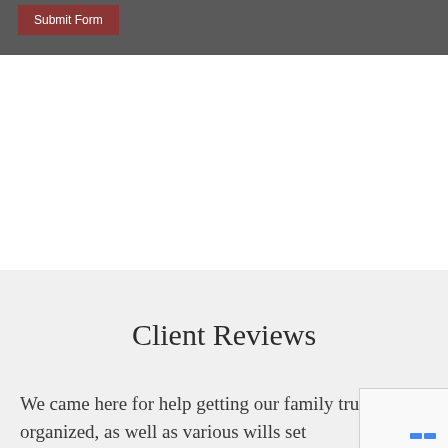Submit Form
Client Reviews
We came here for help getting our family trust organized, as well as various wills set